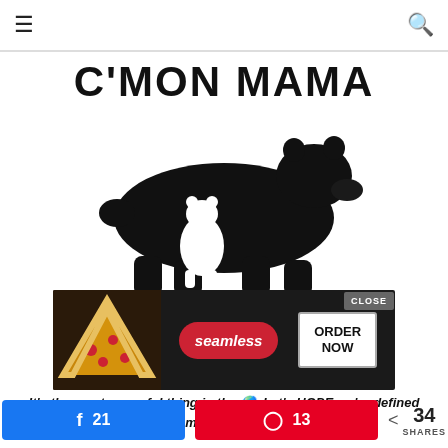≡ [hamburger menu] [search icon]
C'MON MAMA
[Figure (illustration): Black silhouette of a mother bear walking with a small bear cub underneath her body]
[Figure (screenshot): Advertisement banner: pizza image on left, seamless logo in red pill button, ORDER NOW button in white bordered box, CLOSE button in gray]
It's the most powerful thing in the 🌎. Let's HOPE we're defined by something that epic.
21  13  34 SHARES